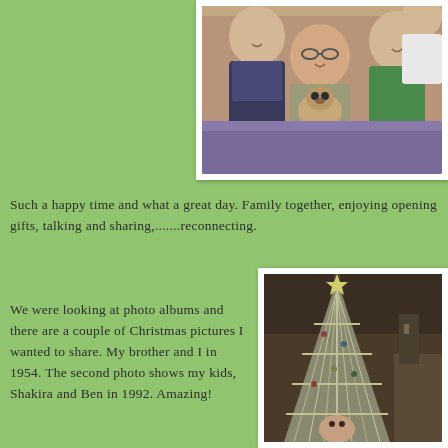[Figure (photo): Color photograph of a group of people including a man with glasses holding a small pug dog, surrounded by others, one wearing a green jacket, seated together indoors.]
Such a happy time and what a great day. Family together, enjoying opening gifts, talking and sharing,.......reconnecting.
We were looking at photo albums and there are a couple of Christmas pictures I wanted to share. My brother and I in 1954. The second photo shows my kids, Shakira and Ben in 1992. Amazing!
[Figure (photo): Old black and white/sepia photograph from around 1954 showing a child near a heavily decorated Christmas tree with a person partially visible.]